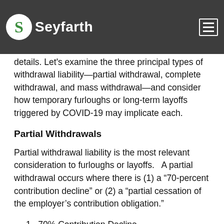Seyfarth
details.  Let's examine the three principal types of withdrawal liability—partial withdrawal, complete withdrawal, and mass withdrawal—and consider how temporary furloughs or long-term layoffs triggered by COVID-19 may implicate each.
Partial Withdrawals
Partial withdrawal liability is the most relevant consideration to furloughs or layoffs.   A partial withdrawal occurs where there is (1) a “70-percent contribution decline” or (2) a “partial cessation of the employer’s contribution obligation.”
1. 70% Contribution Decline
A 70% contribution decline at the end of a given fund plan year triggers withdrawal liability if the